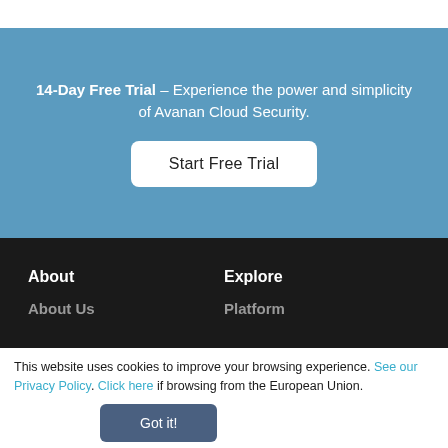14-Day Free Trial – Experience the power and simplicity of Avanan Cloud Security.
Start Free Trial
About
Explore
About Us
Platform
This website uses cookies to improve your browsing experience. See our Privacy Policy. Click here if browsing from the European Union.
Got it!